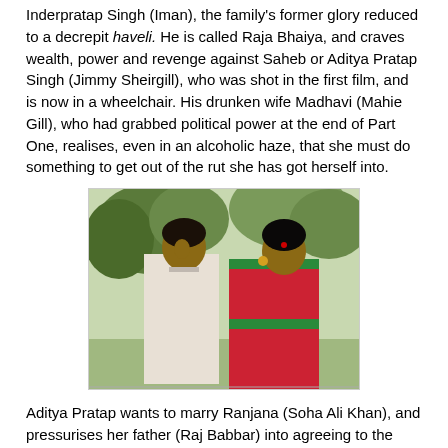Inderpratap Singh (Iman), the family's former glory reduced to a decrepit haveli. He is called Raja Bhaiya, and craves wealth, power and revenge against Saheb or Aditya Pratap Singh (Jimmy Sheirgill), who was shot in the first film, and is now in a wheelchair. His drunken wife Madhavi (Mahie Gill), who had grabbed political power at the end of Part One, realises, even in an alcoholic haze, that she must do something to get out of the rut she has got herself into.
[Figure (photo): A man in a light-colored kurta and a woman in a red and green saree standing outdoors with trees in the background.]
Aditya Pratap wants to marry Ranjana (Soha Ali Khan), and pressurises her father (Raj Babbar) into agreeing to the match. But Ranjana is in love with Inder, who in turn is using Madhavi to get what he wants, as she uses him. The game of love and sex plays out against a complicated political backdrop that involves the partition of UP, and four former royals trying to get the best of the situation.